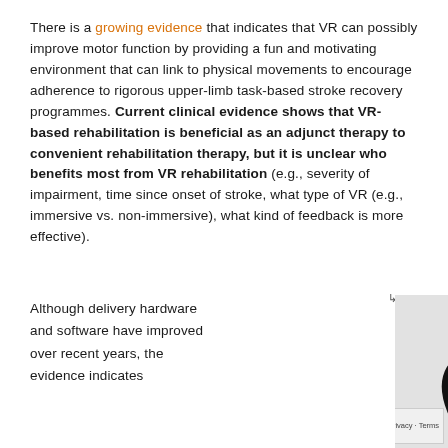There is a growing evidence that indicates that VR can possibly improve motor function by providing a fun and motivating environment that can link to physical movements to encourage adherence to rigorous upper-limb task-based stroke recovery programmes. Current clinical evidence shows that VR-based rehabilitation is beneficial as an adjunct therapy to convenient rehabilitation therapy, but it is unclear who benefits most from VR rehabilitation (e.g., severity of impairment, time since onset of stroke, what type of VR (e.g., immersive vs. non-immersive), what kind of feedback is more effective).
Although delivery hardware and software have improved over recent years, the evidence indicates
[Figure (photo): Two black VR motion controllers with pink/purple illuminated accents, shown side by side against a light gray background.]